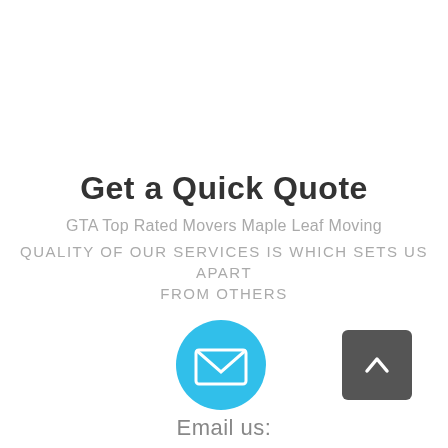Get a Quick Quote
GTA Top Rated Movers Maple Leaf Moving
QUALITY OF OUR SERVICES IS WHICH SETS US APART FROM OTHERS
[Figure (illustration): Cyan circle with white envelope/email icon in the center]
[Figure (illustration): Dark gray rounded square button with white upward chevron arrow (back to top button)]
Email us: